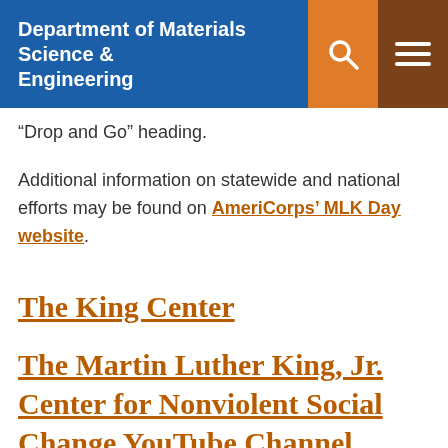Department of Materials Science & Engineering
“Drop and Go” heading.
Additional information on statewide and national efforts may be found on AmeriCorps’ MLK Day website.
The King Center
The Martin Luther King, Jr. Center for Nonviolent Social Change YouTube Channel